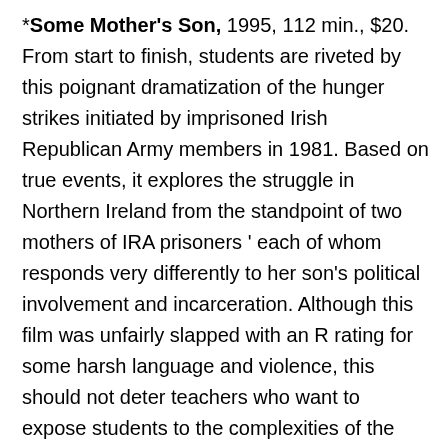*Some Mother's Son, 1995, 112 min., $20. From start to finish, students are riveted by this poignant dramatization of the hunger strikes initiated by imprisoned Irish Republican Army members in 1981. Based on true events, it explores the struggle in Northern Ireland from the standpoint of two mothers of IRA prisoners ' each of whom responds very differently to her son's political involvement and incarceration. Although this film was unfairly slapped with an R rating for some harsh language and violence, this should not deter teachers who want to expose students to the complexities of the Irish 'Troubles'.